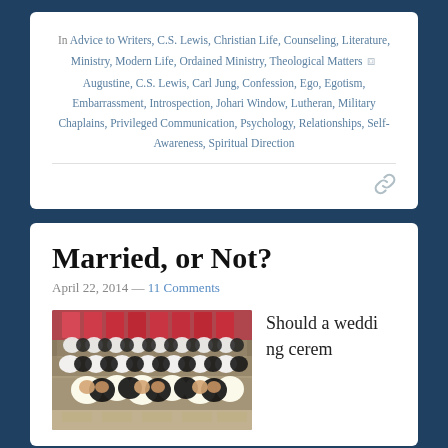In Advice to Writers, C.S. Lewis, Christian Life, Counseling, Literature, Ministry, Modern Life, Ordained Ministry, Theological Matters ⬥ Augustine, C.S. Lewis, Carl Jung, Confession, Ego, Egotism, Embarrassment, Introspection, Johari Window, Lutheran, Military Chaplains, Privileged Communication, Psychology, Relationships, Self-Awareness, Spiritual Direction
[Figure (other): Link/chain icon]
Married, or Not?
April 22, 2014 — 11 Comments
[Figure (photo): A large group wedding ceremony showing couples dressed in black suits and white wedding dresses seated in rows]
Should a wedding cerem